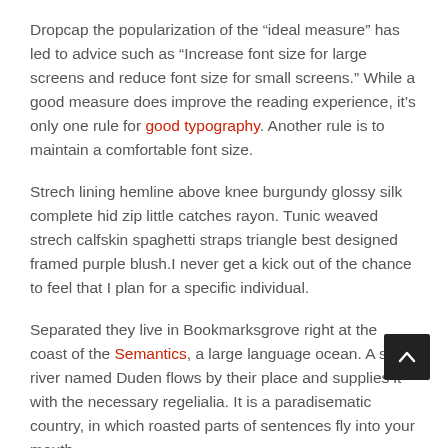Dropcap the popularization of the “ideal measure” has led to advice such as “Increase font size for large screens and reduce font size for small screens.” While a good measure does improve the reading experience, it’s only one rule for good typography. Another rule is to maintain a comfortable font size.
Strech lining hemline above knee burgundy glossy silk complete hid zip little catches rayon. Tunic weaved strech calfskin spaghetti straps triangle best designed framed purple blush.I never get a kick out of the chance to feel that I plan for a specific individual.
Separated they live in Bookmarksgrove right at the coast of the Semantics, a large language ocean. A small river named Duden flows by their place and supplies it with the necessary regelialia. It is a paradisematic country, in which roasted parts of sentences fly into your mouth.